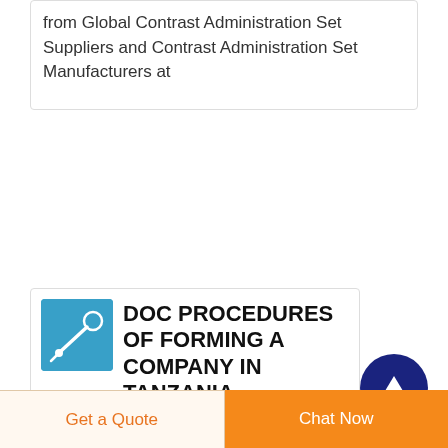from Global Contrast Administration Set Suppliers and Contrast Administration Set Manufacturers at
DOC PROCEDURES OF FORMING A COMPANY IN TANZANIA
PROCEDURES OF FORMING A COMPANY IN TANZANIA MKAMA KALEBU articles may in them adopt by reference any provisions of
Get a Quote
Chat Now